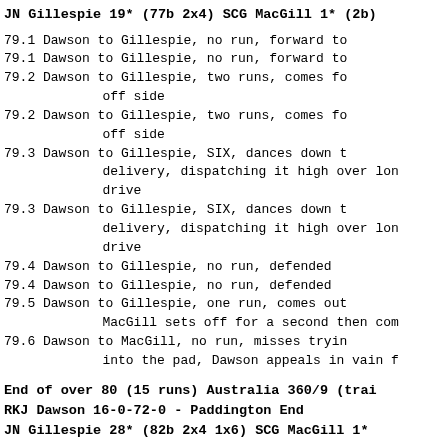JN Gillespie 19* (77b 2x4) SCG MacGill 1* (2b)
79.1 Dawson to Gillespie, no run, forward to
79.1 Dawson to Gillespie, no run, forward to
79.2 Dawson to Gillespie, two runs, comes fo
     off side
79.2 Dawson to Gillespie, two runs, comes fo
     off side
79.3 Dawson to Gillespie, SIX, dances down t
     delivery, dispatching it high over lon
     drive
79.3 Dawson to Gillespie, SIX, dances down t
     delivery, dispatching it high over lon
     drive
79.4 Dawson to Gillespie, no run, defended
79.4 Dawson to Gillespie, no run, defended
79.5 Dawson to Gillespie, one run, comes out
     MacGill sets off for a second then com
79.6 Dawson to MacGill, no run, misses tryin
     into the pad, Dawson appeals in vain f
End of over 80 (15 runs) Australia 360/9 (trai
RKJ Dawson 16-0-72-0 - Paddington End
JN Gillespie 28* (82b 2x4 1x6) SCG MacGill 1*